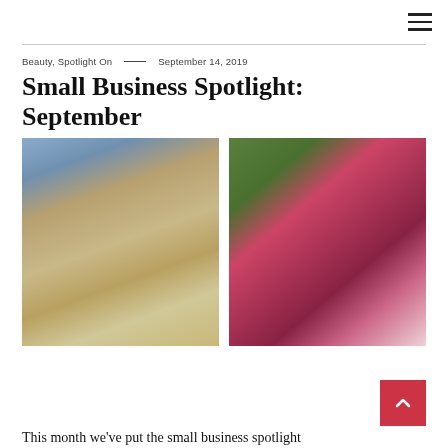≡
Beauty, Spotlight On — September 14, 2019
Small Business Spotlight: September
[Figure (photo): Close-up photo of a person's hands with painted nails holding a woven basket bag, wearing a denim jacket]
[Figure (photo): Photo of Made For Life 100% Organic beauty product jars and bottles in pink and dark red colors, with green plant in background]
This month we've put the small business spotlight